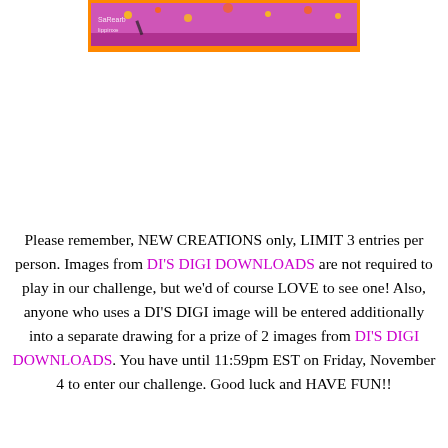[Figure (illustration): Partial Halloween-themed image with orange border and purple/colorful content visible at top of page]
Please remember, NEW CREATIONS only, LIMIT 3 entries per person. Images from DI'S DIGI DOWNLOADS are not required to play in our challenge, but we'd of course LOVE to see one! Also, anyone who uses a DI'S DIGI image will be entered additionally into a separate drawing for a prize of 2 images from DI'S DIGI DOWNLOADS. You have until 11:59pm EST on Friday, November 4 to enter our challenge. Good luck and HAVE FUN!!